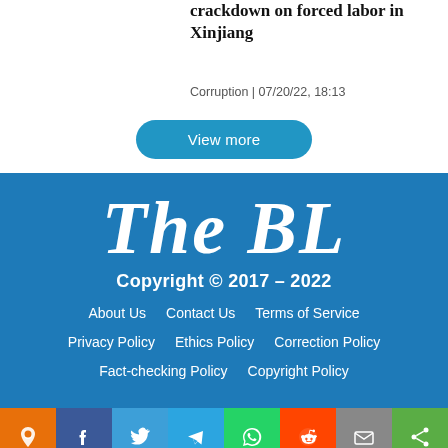crackdown on forced labor in Xinjiang
Corruption | 07/20/22, 18:13
View more
[Figure (logo): The BL logo in white italic bold text on blue background]
Copyright © 2017 – 2022
About Us   Contact Us   Terms of Service
Privacy Policy   Ethics Policy   Correction Policy
Fact-checking Policy   Copyright Policy
[Figure (infographic): Social media share buttons: location pin (orange), Facebook (blue), Twitter (light blue), Telegram (teal), WhatsApp (green), Reddit (red), Email (gray), Share (dark green)]